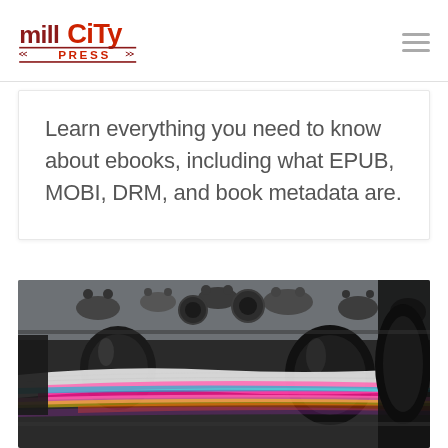Mill City Press
Learn everything you need to know about ebooks, including what EPUB, MOBI, DRM, and book metadata are.
[Figure (photo): Close-up photograph of a printing press machine with rollers and colorful paper/ink in motion]